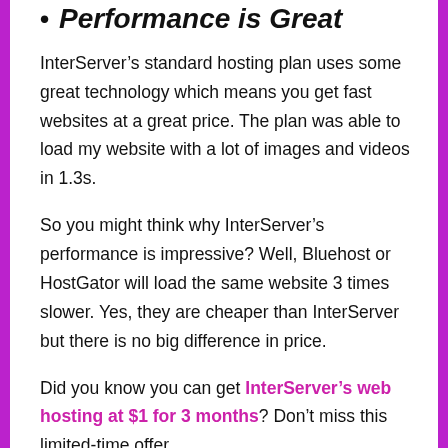Performance is Great
InterServer’s standard hosting plan uses some great technology which means you get fast websites at a great price. The plan was able to load my website with a lot of images and videos in 1.3s.
So you might think why InterServer’s performance is impressive? Well, Bluehost or HostGator will load the same website 3 times slower. Yes, they are cheaper than InterServer but there is no big difference in price.
Did you know you can get InterServer’s web hosting at $1 for 3 months? Don’t miss this limited-time offer.
Free Security Tools